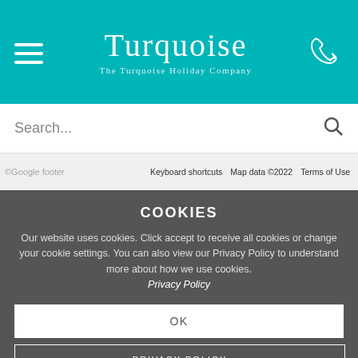[Figure (logo): Turquoise Holiday Company logo on teal header bar with hamburger menu and phone icon]
Search...
©Google footer   Keyboard shortcuts   Map data ©2022   Terms of Use
COOKIES
Our website uses cookies. Click accept to receive all cookies or change your cookie settings. You can also view our Privacy Policy to understand more about how we use cookies. Privacy Policy
OK
PRIVACY POLICY